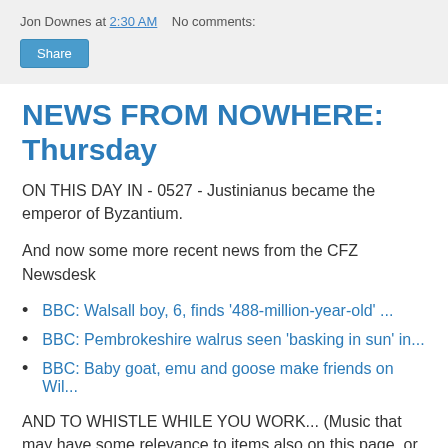Jon Downes at 2:30 AM   No comments:
Share
NEWS FROM NOWHERE: Thursday
ON THIS DAY IN - 0527 - Justinianus became the emperor of Byzantium.
And now some more recent news from the CFZ Newsdesk
BBC: Walsall boy, 6, finds '488-million-year-old' ...
BBC: Pembrokeshire walrus seen 'basking in sun' in...
BBC: Baby goat, emu and goose make friends on Wil...
AND TO WHISTLE WHILE YOU WORK... (Music that may have some relevance to items also on this page, or may just reflect my mood on the day)
[Figure (photo): Dark/black video thumbnail image]